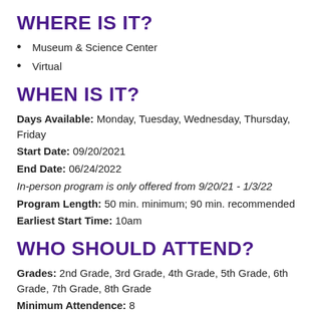WHERE IS IT?
Museum & Science Center
Virtual
WHEN IS IT?
Days Available: Monday, Tuesday, Wednesday, Thursday, Friday
Start Date: 09/20/2021
End Date: 06/24/2022
In-person program is only offered from 9/20/21 - 1/3/22
Program Length: 50 min. minimum; 90 min. recommended
Earliest Start Time: 10am
WHO SHOULD ATTEND?
Grades: 2nd Grade, 3rd Grade, 4th Grade, 5th Grade, 6th Grade, 7th Grade, 8th Grade
Minimum Attendence: 8
Maximum Attendence: 30